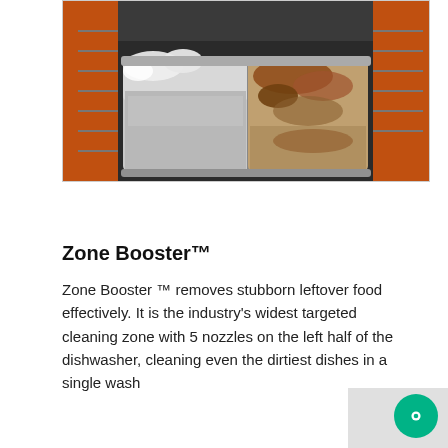[Figure (photo): A dishwasher interior showing a large rectangular container or pan being washed. The left side of the pan appears clean and white/silver with foam/suds, while the right side shows brown stubborn food residue. Orange dishwasher racks are visible on the sides.]
Zone Booster™
Zone Booster ™ removes stubborn leftover food effectively. It is the industry's widest targeted cleaning zone with 5 nozzles on the left half of the dishwasher, cleaning even the dirtiest dishes in a single wash